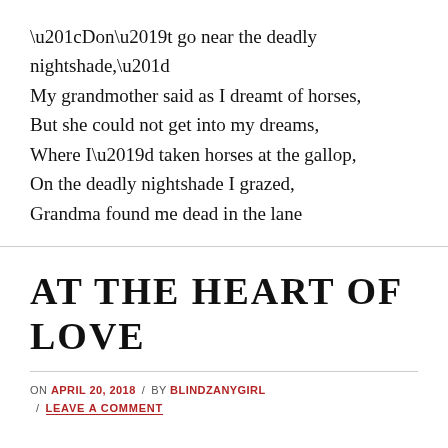“Don’t go near the deadly nightshade,” My grandmother said as I dreamt of horses, But she could not get into my dreams, Where I’d taken horses at the gallop, On the deadly nightshade I grazed, Grandma found me dead in the lane
AT THE HEART OF LOVE
ON APRIL 20, 2018 / BY BLINDZANYGIRL / LEAVE A COMMENT